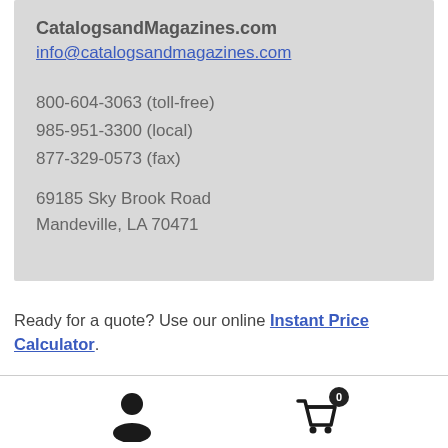CatalogsandMagazines.com
info@catalogsandmagazines.com
800-604-3063 (toll-free)
985-951-3300 (local)
877-329-0573 (fax)
69185 Sky Brook Road
Mandeville, LA 70471
Ready for a quote? Use our online Instant Price Calculator.
[Figure (illustration): User account icon (silhouette of a person) and shopping cart icon with badge showing count 0]